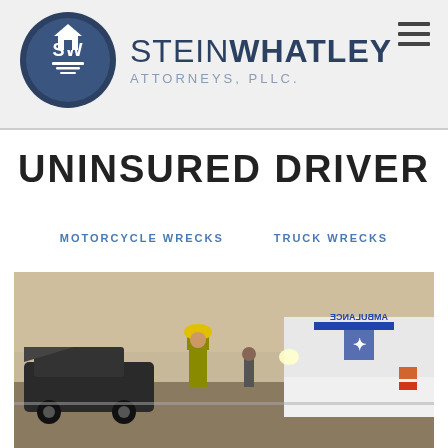[Figure (logo): Stein Whatley Attorneys PLLC logo with circular emblem and company name]
UNINSURED DRIVER
MOTORCYCLE WRECKS   TRUCK WRECKS
[Figure (photo): Photo of a car accident scene with a firefighter and an ambulance in the background]